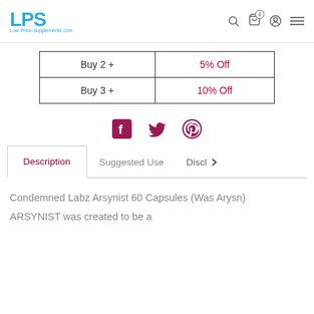LPS Low-Price-Supplements.com
| Buy 2 + | 5% Off |
| Buy 3 + | 10% Off |
[Figure (other): Social share icons: Facebook, Twitter, Pinterest]
[Figure (other): Tab navigation: Description (active), Suggested Use, Discl> (truncated with arrow)]
Condemned Labz Arsynist 60 Capsules (Was Arysn)
ARSYNIST was created to be a